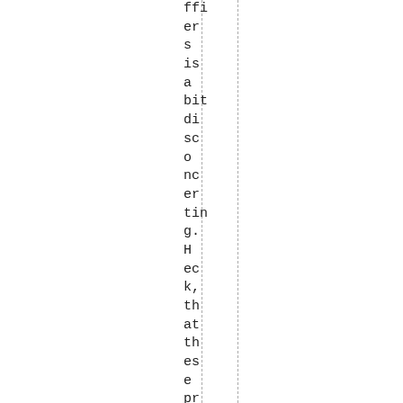fiers is a bit disconcerting. Heck, that these pressures exist is h